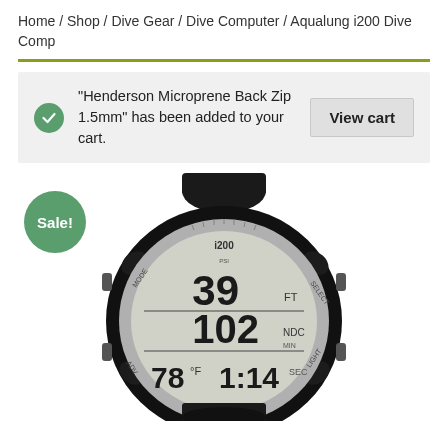Home / Shop / Dive Gear / Dive Computer / Aqualung i200 Dive Comp
"Henderson Microprene Back Zip 1.5mm" has been added to your cart.
View cart
[Figure (photo): Aqualung i200 dive computer watch with digital LCD display showing 39 FT depth, 102 NDC, 78°F temperature, and 1:14 time. The watch has a black rubber strap and silver bezel.]